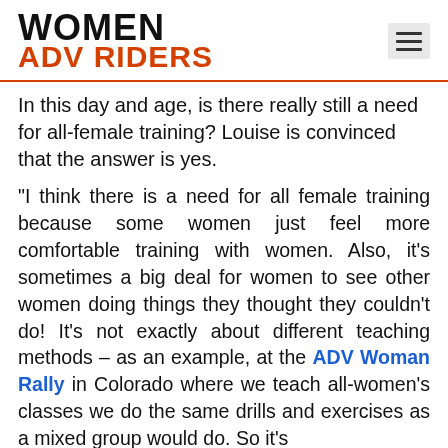WOMEN ADV RIDERS
In this day and age, is there really still a need for all-female training? Louise is convinced that the answer is yes.
"I think there is a need for all female training because some women just feel more comfortable training with women. Also, it's sometimes a big deal for women to see other women doing things they thought they couldn't do! It's not exactly about different teaching methods – as an example, at the ADV Woman Rally in Colorado where we teach all-women's classes we do the same drills and exercises as a mixed group would do. So it's